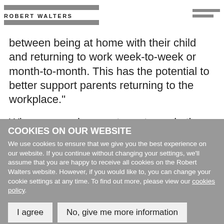ROBERT WALTERS
Parental leave into chunks can also allow returning parents between being at home with their child and returning to work week-to-week or month-to-month. This has the potential to better support parents returning to the workplace."
When an employee returns to work, they also have the option to request flexible working arrangements from their employer. While employers do have a right to refuse an employee's request, they need to provide a valid business reason for doing so and they are required to give the employee formal feedback.
COOKIES ON OUR WEBSITE
We use cookies to ensure that we give you the best experience on our website. If you continue without changing your settings, we'll assume that you are happy to receive all cookies on the Robert Walters website. However, if you would like to, you can change your cookie settings at any time. To find out more, please view our cookies policy.